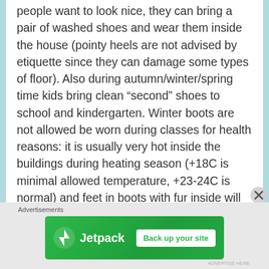people want to look nice, they can bring a pair of washed shoes and wear them inside the house (pointy heels are not advised by etiquette since they can damage some types of floor). Also during autumn/winter/spring time kids bring clean “second” shoes to school and kindergarten. Winter boots are not allowed be worn during classes for health reasons: it is usually very hot inside the buildings during heating season (+18C is minimal allowed temperature, +23-24C is normal) and feet in boots with fur inside will sweat a lot. Also sand and mud dry eventually and when kids run and play during breaks, this dust mixed with anti-ice chemicals would be in
[Figure (other): Jetpack advertisement banner with logo and 'Back up your site' button]